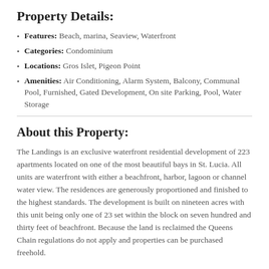Property Details:
Features: Beach, marina, Seaview, Waterfront
Categories: Condominium
Locations: Gros Islet, Pigeon Point
Amenities: Air Conditioning, Alarm System, Balcony, Communal Pool, Furnished, Gated Development, On site Parking, Pool, Water Storage
About this Property:
The Landings is an exclusive waterfront residential development of 223 apartments located on one of the most beautiful bays in St. Lucia. All units are waterfront with either a beachfront, harbor, lagoon or channel water view. The residences are generously proportioned and finished to the highest standards. The development is built on nineteen acres with this unit being only one of 23 set within the block on seven hundred and thirty feet of beachfront. Because the land is reclaimed the Queens Chain regulations do not apply and properties can be purchased freehold.